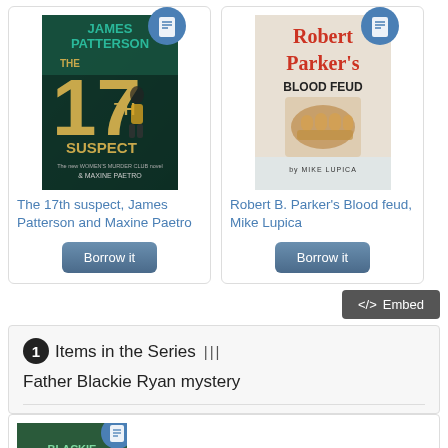[Figure (illustration): Book cover of 'The 17th Suspect' by James Patterson and Maxine Paetro, with a circular document badge icon overlay]
The 17th suspect, James Patterson and Maxine Paetro
Borrow it
[Figure (illustration): Book cover of 'Robert Parker's Blood Feud' by Mike Lupica, with a circular document badge icon overlay]
Robert B. Parker's Blood feud, Mike Lupica
Borrow it
</> Embed
1 Items in the Series ||| Father Blackie Ryan mystery
[Figure (illustration): Partial view of a book cover at the bottom of the page with a circular document badge icon overlay]